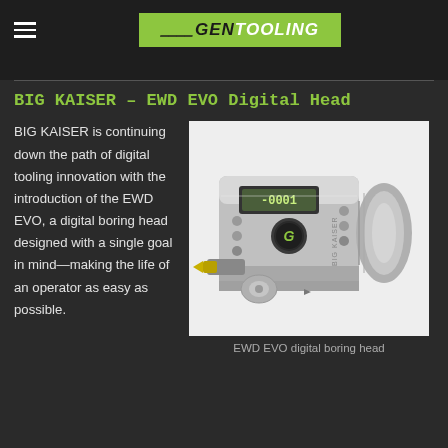GEN TOOLING
BIG KAISER – EWD EVO Digital Head
BIG KAISER is continuing down the path of digital tooling innovation with the introduction of the EWD EVO, a digital boring head designed with a single goal in mind—making the life of an operator as easy as possible.
[Figure (photo): EWD EVO digital boring head — a metallic cylindrical boring tool with a digital LCD display showing '-0001', a power button with a G logo, insert holder with gold-colored carbide insert, and branded 'BIG KAISER' text on the side.]
EWD EVO digital boring head